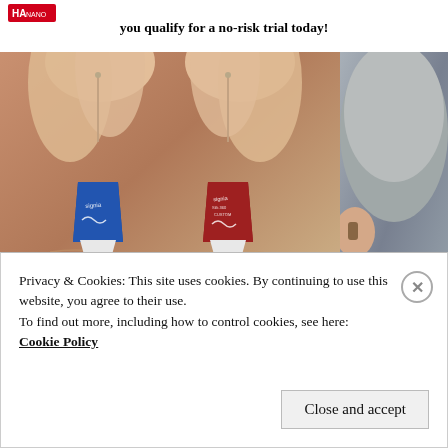HA logo badge
you qualify for a no-risk trial today!
[Figure (photo): Close-up photograph of two small in-ear hearing aids (one blue, one red/maroon, both branded Signia) being held between fingers, with a partial second image of a person wearing a hearing aid on the right edge.]
Privacy & Cookies: This site uses cookies. By continuing to use this website, you agree to their use.
To find out more, including how to control cookies, see here:
Cookie Policy
Close and accept